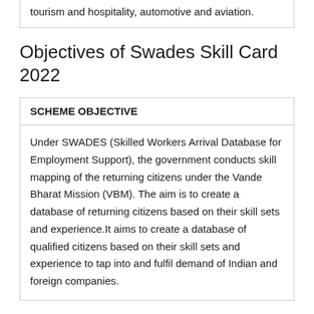tourism and hospitality, automotive and aviation.
Objectives of Swades Skill Card 2022
| SCHEME OBJECTIVE |
| --- |
| Under SWADES (Skilled Workers Arrival Database for Employment Support), the government conducts skill mapping of the returning citizens under the Vande Bharat Mission (VBM). The aim is to create a database of returning citizens based on their skill sets and experience.It aims to create a database of qualified citizens based on their skill sets and experience to tap into and fulfil demand of Indian and foreign companies. |
Major Benefits & Key Features of Scheme